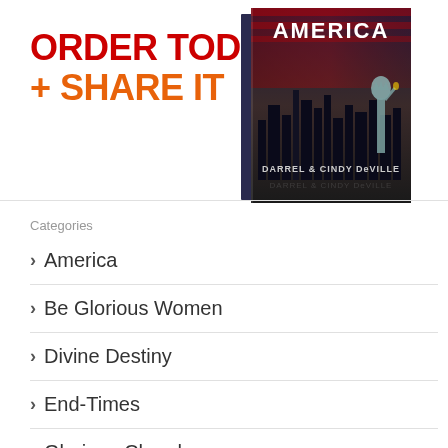ORDER TODAY + SHARE IT
[Figure (illustration): Book cover showing Statue of Liberty with dark cityscape background and American flag. Title says AMERICA at top, authors listed as DARREL & CINDY DeVILLE at bottom.]
Categories
> America
> Be Glorious Women
> Divine Destiny
> End-Times
> Glorious Church